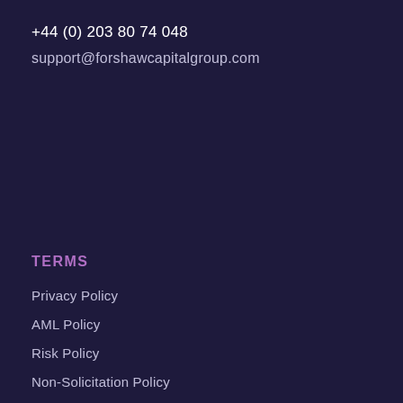+44 (0) 203 80 74 048
support@forshawcapitalgroup.com
TERMS
Privacy Policy
AML Policy
Risk Policy
Non-Solicitation Policy